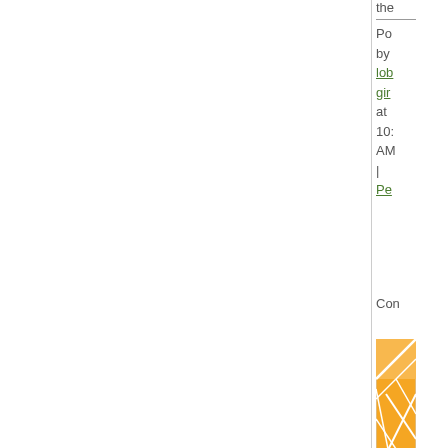the
Po
by
lob
gir
at
10:
AM
|
Pe
Con
[Figure (logo): Orange and white geometric logo with intersecting lines on orange background]
[Figure (logo): Green logo partially visible at bottom]